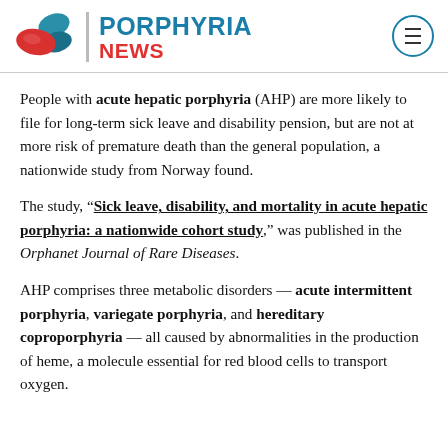PORPHYRIA NEWS
People with acute hepatic porphyria (AHP) are more likely to file for long-term sick leave and disability pension, but are not at more risk of premature death than the general population, a nationwide study from Norway found.
The study, “Sick leave, disability, and mortality in acute hepatic porphyria: a nationwide cohort study,” was published in the Orphanet Journal of Rare Diseases.
AHP comprises three metabolic disorders — acute intermittent porphyria, variegate porphyria, and hereditary coproporphyria — all caused by abnormalities in the production of heme, a molecule essential for red blood cells to transport oxygen.